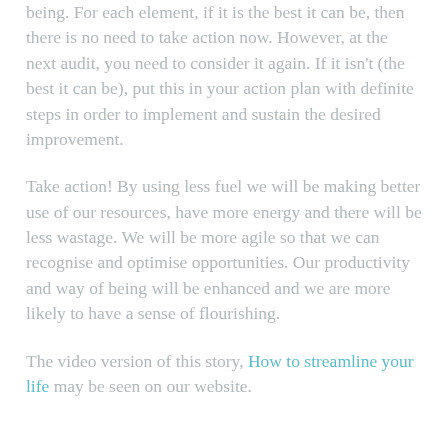being. For each element, if it is the best it can be, then there is no need to take action now. However, at the next audit, you need to consider it again. If it isn't (the best it can be), put this in your action plan with definite steps in order to implement and sustain the desired improvement.
Take action! By using less fuel we will be making better use of our resources, have more energy and there will be less wastage. We will be more agile so that we can recognise and optimise opportunities. Our productivity and way of being will be enhanced and we are more likely to have a sense of flourishing.
The video version of this story, How to streamline your life may be seen on our website.